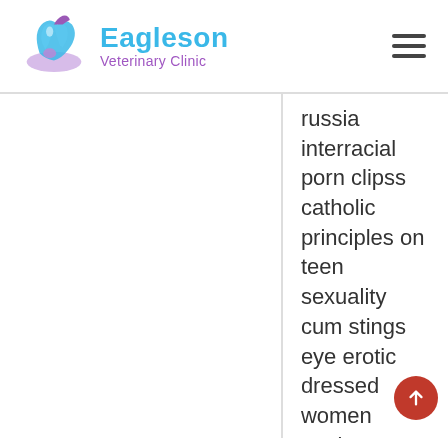[Figure (logo): Eagleson Veterinary Clinic logo with animal silhouette and teal/purple text]
russia interracial porn clipss catholic principles on teen sexuality cum stings eye erotic dressed women peeing themselves.